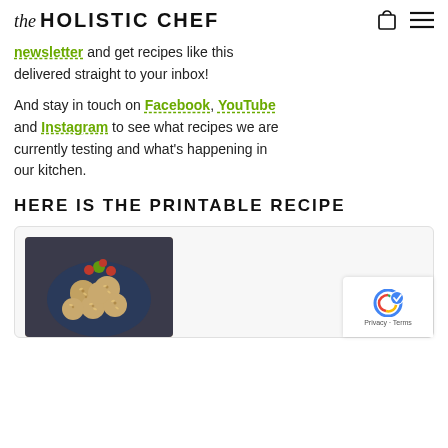the HOLISTIC CHEF
newsletter and get recipes like this delivered straight to your inbox!
And stay in touch on Facebook, YouTube and Instagram to see what recipes we are currently testing and what's happening in our kitchen.
HERE IS THE PRINTABLE RECIPE
[Figure (photo): A plate of round baked goods (scones or rolls) with cranberries and a lime wedge garnish on a dark plate, inside a recipe card with light gray background.]